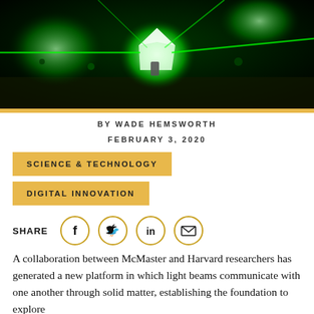[Figure (photo): Green laser light illuminating a crystal/optical element in a laboratory optics setup on an optical bench]
BY WADE HEMSWORTH
FEBRUARY 3, 2020
SCIENCE & TECHNOLOGY
DIGITAL INNOVATION
SHARE
A collaboration between McMaster and Harvard researchers has generated a new platform in which light beams communicate with one another through solid matter, establishing the foundation to explore